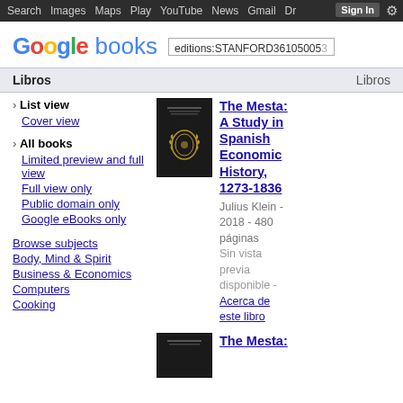Search  Images  Maps  Play  YouTube  News  Gmail  Drive  More  Sign In  ⚙
[Figure (logo): Google books logo with search box showing 'editions:STANFORD36105005...']
Libros    Libros
› List view
Cover view
› All books
Limited preview and full view
Full view only
Public domain only
Google eBooks only
Browse subjects
Body, Mind & Spirit
Business & Economics
Computers
Cooking
[Figure (photo): Book cover of 'The Mesta: A Study in Spanish Economic History' — black cover with gold laurel wreath emblem]
The Mesta: A Study in Spanish Economic History, 1273-1836
Julius Klein - 2018 - 480 páginas
Sin vista previa disponible - Acerca de este libro
[Figure (photo): Second book cover, partially visible, black cover]
The Mesta: